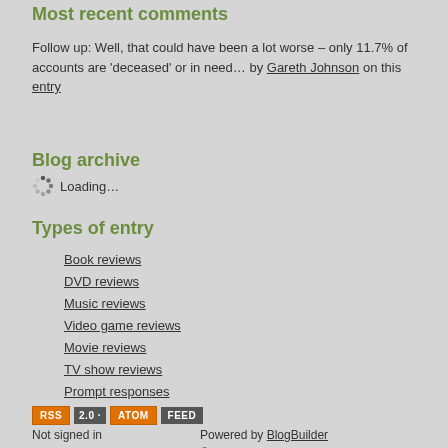Most recent comments
Follow up: Well, that could have been a lot worse – only 11.7% of accounts are 'deceased' or in need… by Gareth Johnson on this entry
Blog archive
Loading…
Types of entry
Book reviews
DVD reviews
Music reviews
Video game reviews
Movie reviews
TV show reviews
Prompt responses
[Figure (other): RSS 2.0 and ATOM FEED badges]
Not signed in
Sign in
Powered by BlogBuilder
© MMXXII